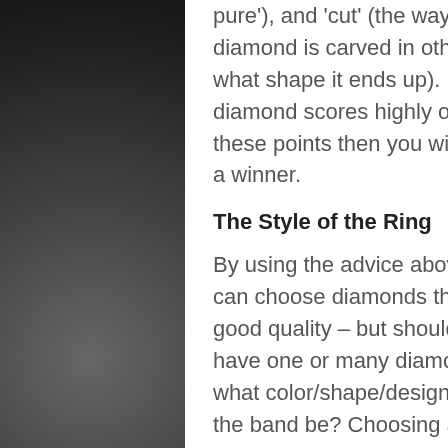pure'), and 'cut' (the way the diamond is carved in other words, what shape it ends up). If your diamond scores highly on all these points then you will be on to a winner.
The Style of the Ring
By using the advice above you can choose diamonds that are good quality – but should the ring have one or many diamonds? And what color/shape/design should the band be? Choosing a ring that is technically good quality